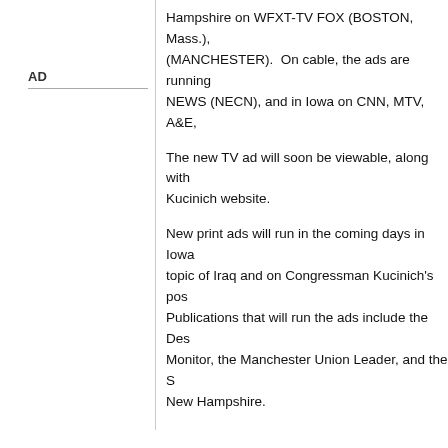AD
Hampshire on WFXT-TV FOX (BOSTON, Mass.), (MANCHESTER).  On cable, the ads are running NEWS (NECN), and in Iowa on CNN, MTV, A&E,
The new TV ad will soon be viewable, along with Kucinich website.
New print ads will run in the coming days in Iowa topic of Iraq and on Congressman Kucinich's pos Publications that will run the ads include the Des Monitor, the Manchester Union Leader, and the S New Hampshire.
Kucinichs advertising campaign has been develo widely regarded as one of the most creative and s communicators of our time.  Lois created the win Jacob Javits, Robert Kennedy, Hugh Scott, and W "celebrity" ad campaign that helped free Rubin "H
Posted by Mike on January 13, 2004 | Permalink